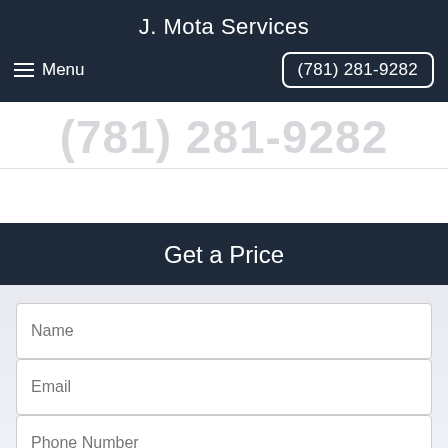J. Mota Services
Menu  (781) 281-9282
(781) 281-9282
Get a Price
Name
Email
Phone Number